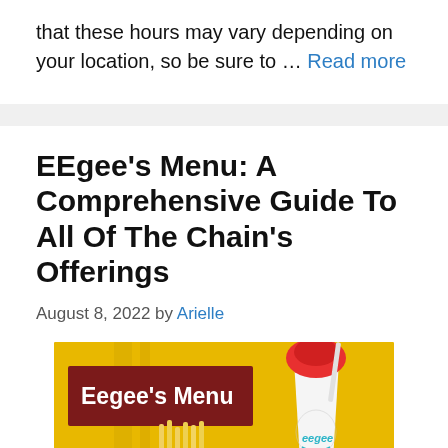that these hours may vary depending on your location, so be sure to … Read more
EEgee's Menu: A Comprehensive Guide To All Of The Chain's Offerings
August 8, 2022 by Arielle
[Figure (photo): Photo showing Eegee's Menu — a yellow background with french fries, a frozen slush drink in a white cup, and a dark red banner reading 'Eegee's Menu' in white text.]